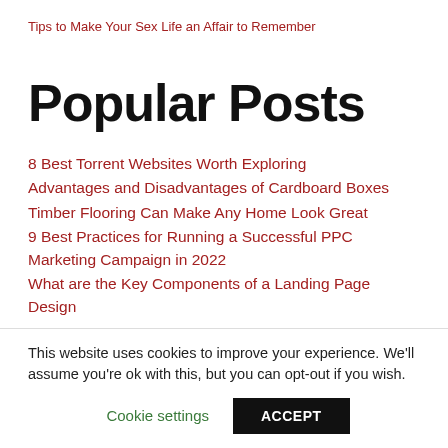Tips to Make Your Sex Life an Affair to Remember
Popular Posts
8 Best Torrent Websites Worth Exploring
Advantages and Disadvantages of Cardboard Boxes
Timber Flooring Can Make Any Home Look Great
9 Best Practices for Running a Successful PPC Marketing Campaign in 2022
What are the Key Components of a Landing Page Design
This website uses cookies to improve your experience. We'll assume you're ok with this, but you can opt-out if you wish.
Cookie settings   ACCEPT